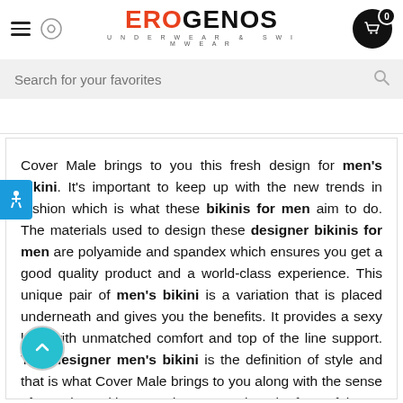EROGENOS UNDERWEAR & SWIMWEAR
Search for your favorites
Cover Male brings to you this fresh design for men's bikini. It's important to keep up with the new trends in fashion which is what these bikinis for men aim to do. The materials used to design these designer bikinis for men are polyamide and spandex which ensures you get a good quality product and a world-class experience. This unique pair of men's bikini is a variation that is placed underneath and gives you the benefits. It provides a sexy look with unmatched comfort and top of the line support. This designer men's bikini is the definition of style and that is what Cover Male brings to you along with the sense of security and increased sex-appeal. At the front of these